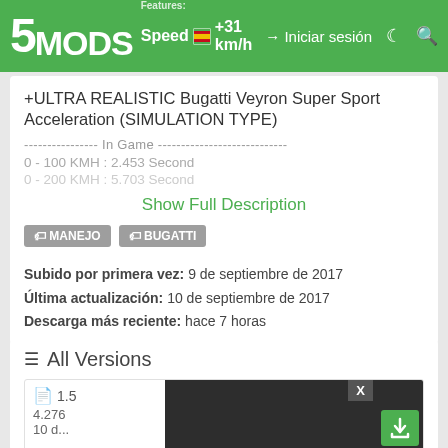Features: Speed +31 km/h | Iniciar sesión
+ULTRA REALISTIC Bugatti Veyron Super Sport Acceleration (SIMULATION TYPE)
---------------- In Game ----------------------------
0 - 100 KMH : 2.453 Second
0 - 200 KMH : 5.703 Second
Show Full Description
MANEJO  BUGATTI
Subido por primera vez: 9 de septiembre de 2017
Última actualización: 10 de septiembre de 2017
Descarga más reciente: hace 7 horas
All Versions
1.5
4.276
10 d...